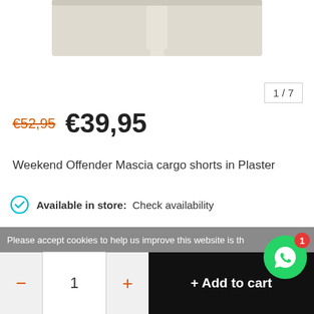[Figure (photo): Product image of Weekend Offender Mascia cargo shorts in Plaster (cream/beige color), showing bottom portion of the shorts at top of page]
1/7
€52,95  €39,95
Weekend Offender Mascia cargo shorts in Plaster
Available in store:  Check availability
Size: *
S
Please accept cookies to help us improve this website is th
1
+ Add to cart